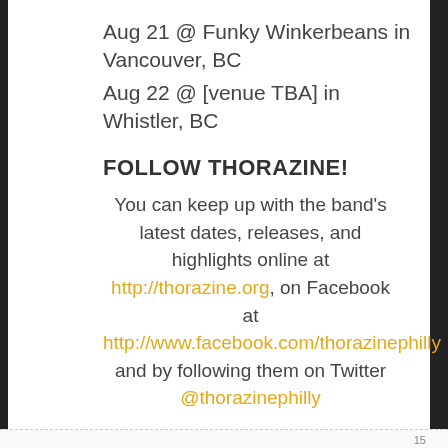Aug 21 @ Funky Winkerbeans in Vancouver, BC
Aug 22 @ [venue TBA] in Whistler, BC
FOLLOW THORAZINE!
You can keep up with the band's latest dates, releases, and highlights online at http://thorazine.org, on Facebook at http://www.facebook.com/thorazinephilly and by following them on Twitter @thorazinephilly